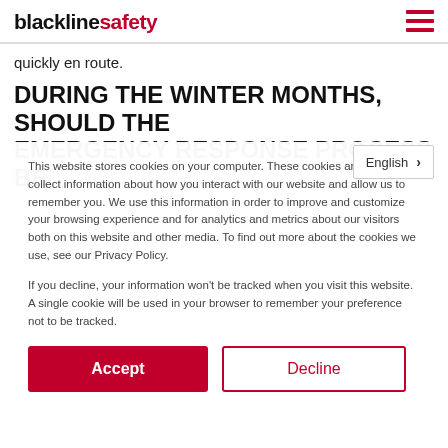blacklinesafety
quickly en route.
DURING THE WINTER MONTHS, SHOULD THE EMERGENCY RESPONSE PROCESS BE
This website stores cookies on your computer. These cookies are used to collect information about how you interact with our website and allow us to remember you. We use this information in order to improve and customize your browsing experience and for analytics and metrics about our visitors both on this website and other media. To find out more about the cookies we use, see our Privacy Policy.
If you decline, your information won't be tracked when you visit this website. A single cookie will be used in your browser to remember your preference not to be tracked.
Accept
Decline
English >